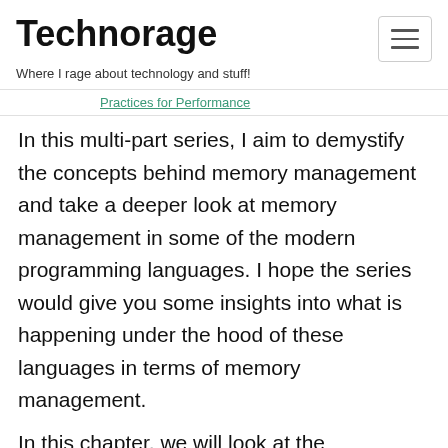Technorage
Where I rage about technology and stuff!
Practices for Performance
In this multi-part series, I aim to demystify the concepts behind memory management and take a deeper look at memory management in some of the modern programming languages. I hope the series would give you some insights into what is happening under the hood of these languages in terms of memory management.
In this chapter, we will look at the...